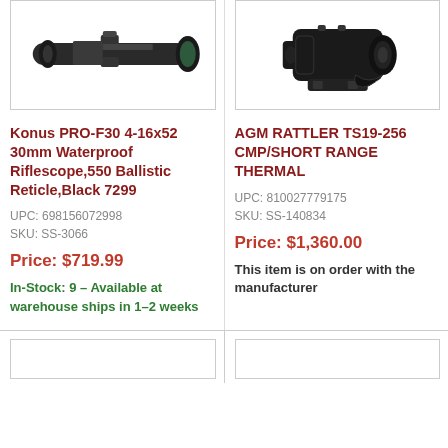[Figure (photo): Konus PRO-F30 riflescope product photo on white background]
[Figure (photo): AGM Rattler TS19-256 thermal scope product photo on white background]
Konus PRO-F30 4-16x52 30mm Waterproof Riflescope,550 Ballistic Reticle,Black 7299
UPC: 698156072998
SKU: SS-3066
Price: $719.99
In-Stock: 9 – Available at warehouse ships in 1–2 weeks
AGM RATTLER TS19-256 CMP/SHORT RANGE THERMAL
UPC: 810027779175
SKU: SS-140834
Price: $1,360.00
This item is on order with the manufacturer